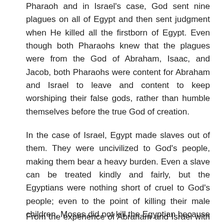Pharaoh and in Israel's case, God sent nine plagues on all of Egypt and then sent judgment when He killed all the firstborn of Egypt. Even though both Pharaohs knew that the plagues were from the God of Abraham, Isaac, and Jacob, both Pharaohs were content for Abraham and Israel to leave and content to keep worshiping their false gods, rather than humble themselves before the true God of creation.
In the case of Israel, Egypt made slaves out of them. They were uncivilized to God's people, making them bear a heavy burden. Even a slave can be treated kindly and fairly, but the Egyptians were nothing short of cruel to God's people; even to the point of killing their male children. Moses did not kill the Egyptian because he was verbally humiliating a fellow Hebrew by hurling politically incorrect insults at him!
From the experience of Abraham and Israel with Egypt, it